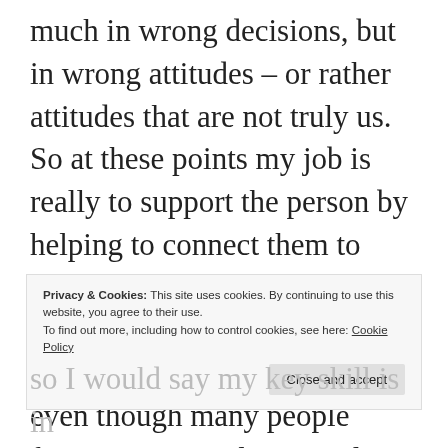much in wrong decisions, but in wrong attitudes – or rather attitudes that are not truly us. So at these points my job is really to support the person by helping to connect them to resources they already have but don't know how to use and to help them to stay authentic, even though many people fixate on external practical decisions. Yet I find that if things are lined
Privacy & Cookies: This site uses cookies. By continuing to use this website, you agree to their use.
To find out more, including how to control cookies, see here: Cookie Policy
so I would say my key skill is in